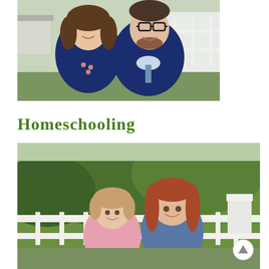[Figure (photo): A smiling couple posing together outdoors. A woman with curly brown hair wearing a navy top with a beaded necklace, and a man wearing glasses and a navy sweater over a collared shirt with a patterned tie.]
Homeschooling
[Figure (photo): Two young girls smiling on a white deck/porch railing with green trees in the background. One girl has auburn/red hair wearing a denim shirt, the other has lighter brown hair in a pink floral top.]